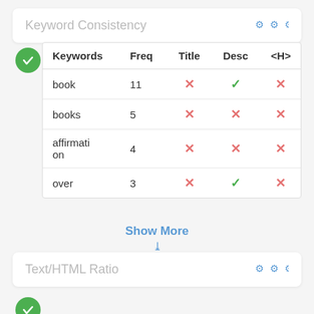Keyword Consistency
| Keywords | Freq | Title | Desc | <H> |
| --- | --- | --- | --- | --- |
| book | 11 | ✗ | ✓ | ✗ |
| books | 5 | ✗ | ✗ | ✗ |
| affirmation | 4 | ✗ | ✗ | ✗ |
| over | 3 | ✗ | ✓ | ✗ |
Show More
Text/HTML Ratio